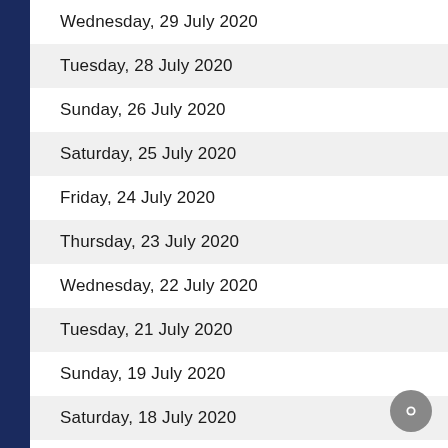Wednesday, 29 July 2020
Tuesday, 28 July 2020
Sunday, 26 July 2020
Saturday, 25 July 2020
Friday, 24 July 2020
Thursday, 23 July 2020
Wednesday, 22 July 2020
Tuesday, 21 July 2020
Sunday, 19 July 2020
Saturday, 18 July 2020